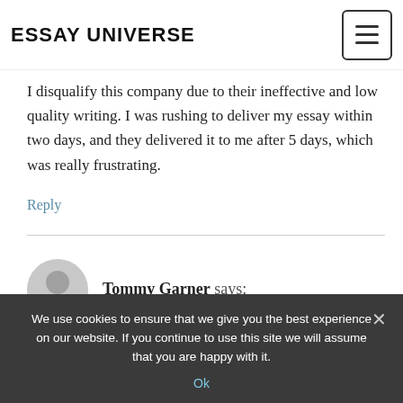ESSAY UNIVERSE
I disqualify this company due to their ineffective and low quality writing. I was rushing to deliver my essay within two days, and they delivered it to me after 5 days, which was really frustrating.
Reply
Tommy Garner says:
We use cookies to ensure that we give you the best experience on our website. If you continue to use this site we will assume that you are happy with it.
Ok